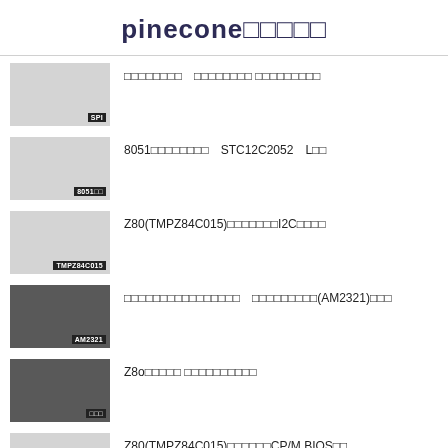pinecone□□□□□
□□□□□□□□　□□□□□□□□ □□□□□□□□□ [tag: SPI]
8051□□□□□□□□　STC12C2052　L□□ [tag: 8051□□]
Z80(TMPZ84C015)□□□□□□□I2C□□□□ [tag: TMPZ84C015]
□□□□□□□□□□□□□□□□　□□□□□□□□□(AM2321)□□□ [tag: AM2321]
Z8o□□□□□□ □□□□□□□□□□ [tag: □□□]
Z80(TMPZ84C015)□□□□□□CP/M BIOS□□